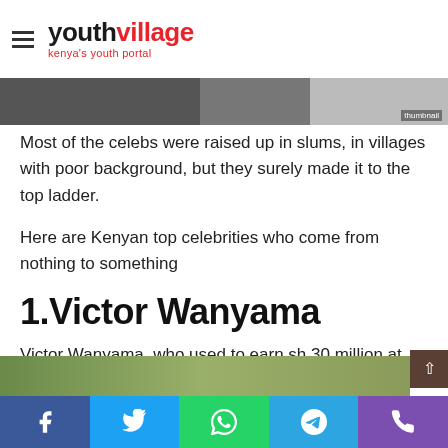youthvillage kenya's youth portal
[Figure (photo): Image strip showing three photos at the top of the page]
Most of the celebs were raised up in slums, in villages with poor background, but they surely made it to the top ladder.
Here are Kenyan top celebrities who come from nothing to something
1.Victor Wanyama
Victor Wanyama, who used to earn sh.30 million at Totenham in English Premier League, grew up in the slums of Muthurwa in Nairobi.
[Figure (photo): Outdoor photo at the bottom of the page]
Social share bar: Facebook, Twitter, WhatsApp, Telegram, Phone